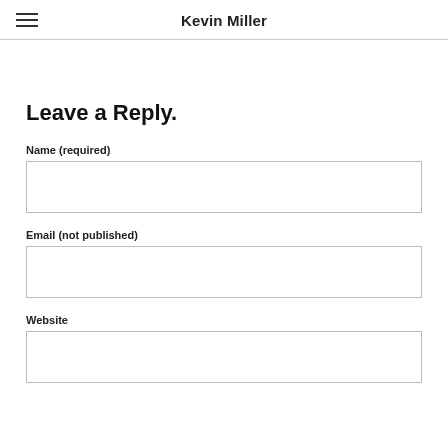Kevin Miller
Leave a Reply.
Name (required)
Email (not published)
Website